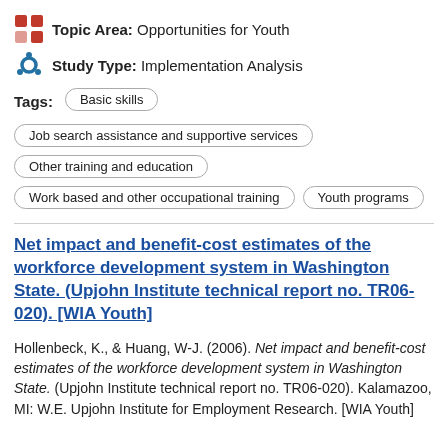Topic Area: Opportunities for Youth
Study Type: Implementation Analysis
Tags: Basic skills | Job search assistance and supportive services | Other training and education | Work based and other occupational training | Youth programs
Net impact and benefit-cost estimates of the workforce development system in Washington State. (Upjohn Institute technical report no. TR06-020). [WIA Youth]
Hollenbeck, K., & Huang, W-J. (2006). Net impact and benefit-cost estimates of the workforce development system in Washington State. (Upjohn Institute technical report no. TR06-020). Kalamazoo, MI: W.E. Upjohn Institute for Employment Research. [WIA Youth]